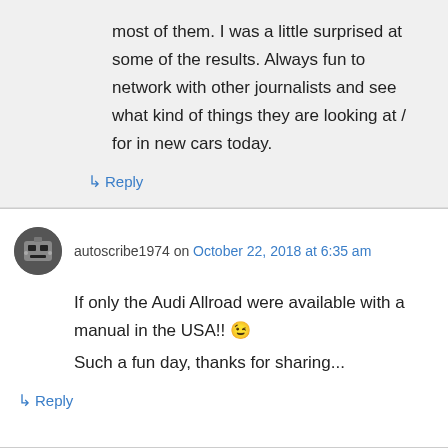most of them. I was a little surprised at some of the results. Always fun to network with other journalists and see what kind of things they are looking at / for in new cars today.
↳ Reply
autoscribe1974 on October 22, 2018 at 6:35 am
If only the Audi Allroad were available with a manual in the USA!! 😉
Such a fun day, thanks for sharing...
↳ Reply